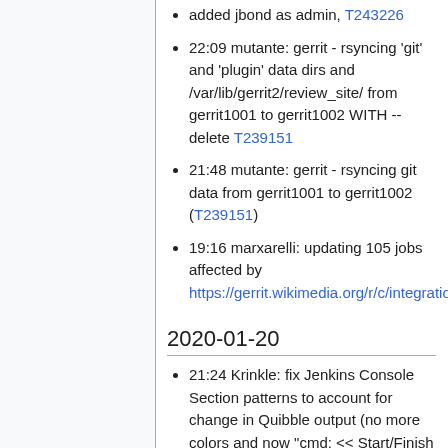added jbond as admin, T243226
22:09 mutante: gerrit - rsyncing 'git' and 'plugin' data dirs and /var/lib/gerrit2/review_site/ from gerrit1001 to gerrit1002 WITH --delete T239151
21:48 mutante: gerrit - rsyncing git data from gerrit1001 to gerrit1002 (T239151)
19:16 marxarelli: updating 105 jobs affected by https://gerrit.wikimedia.org/r/c/integration/config/+/566332
2020-01-20
21:24 Krinkle: fix Jenkins Console Section patterns to account for change in Quibble output (no more colors and now "cmd: << Start/Finish